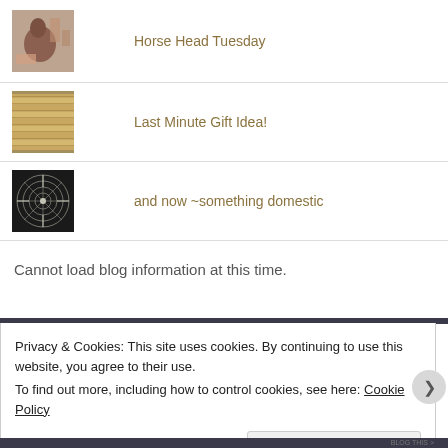Horse Head Tuesday
Last Minute Gift Idea!
and now ~something domestic
Cannot load blog information at this time.
Privacy & Cookies: This site uses cookies. By continuing to use this website, you agree to their use.
To find out more, including how to control cookies, see here: Cookie Policy
Close and accept